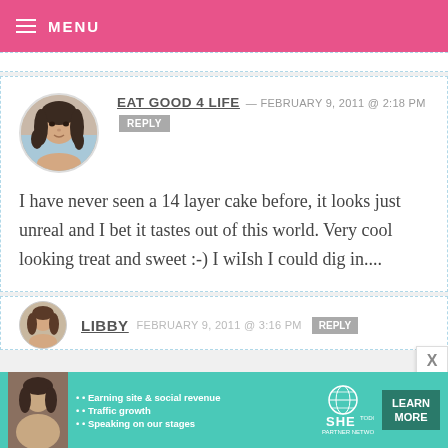MENU
EAT GOOD 4 LIFE — FEBRUARY 9, 2011 @ 2:18 PM REPLY
I have never seen a 14 layer cake before, it looks just unreal and I bet it tastes out of this world. Very cool looking treat and sweet :-) I wiIsh I could dig in....
LIBBY FEBRUARY 9, 2011 @ 3:16 PM REPLY
[Figure (infographic): SHE Partner Network advertisement banner with photo of woman, bullet points: Earning site & social revenue, Traffic growth, Speaking on our stages, and a Learn More button]